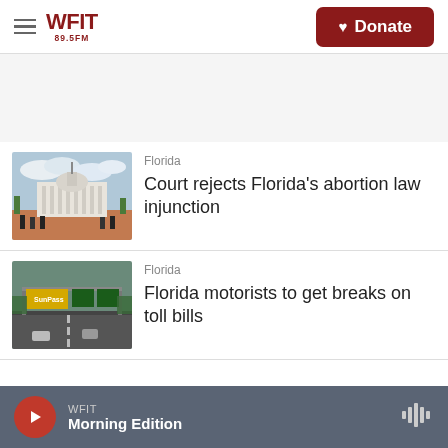WFIT 89.5FM — Donate
[Figure (photo): Florida State Capitol building with protesters in foreground]
Florida
Court rejects Florida's abortion law injunction
[Figure (photo): Highway toll gantry with SunPass signs over multiple lanes]
Florida
Florida motorists to get breaks on toll bills
WFIT — Morning Edition